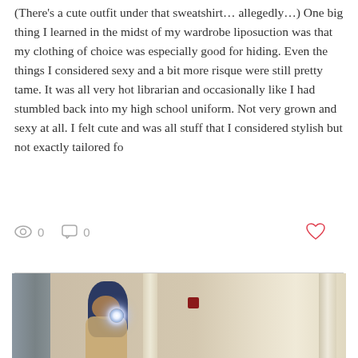(There's a cute outfit under that sweatshirt… allegedly…) One big thing I learned in the midst of my wardrobe liposuction was that my clothing of choice was especially good for hiding. Even the things I considered sexy and a bit more risque were still pretty tame. It was all very hot librarian and occasionally like I had stumbled back into my high school uniform. Not very grown and sexy at all. I felt cute and was all stuff that I considered stylish but not exactly tailored fo
[Figure (screenshot): Social media interaction bar showing eye/views icon with count 0, comment bubble icon with count 0, and a red heart icon on the right]
[Figure (photo): Mirror selfie photo of a person with blue/dark hair taking a selfie, with camera flash visible. Room has a gray door on the left, light strips on the right side, and a small red sign on the wall.]